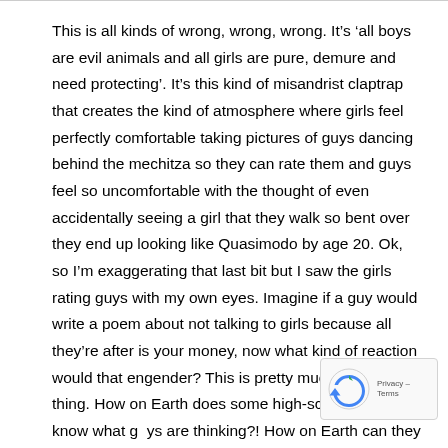This is all kinds of wrong, wrong, wrong. It's 'all boys are evil animals and all girls are pure, demure and need protecting'. It's this kind of misandrist claptrap that creates the kind of atmosphere where girls feel perfectly comfortable taking pictures of guys dancing behind the mechitza so they can rate them and guys feel so uncomfortable with the thought of even accidentally seeing a girl that they walk so bent over they end up looking like Quasimodo by age 20. Ok, so I'm exaggerating that last bit but I saw the girls rating guys with my own eyes. Imagine if a guy would write a poem about not talking to girls because all they're after is your money, now what kind of reaction would that engender? This is pretty much the same thing. How on Earth does some high-school morah know what guys are thinking?! How on Earth can they make such ridiculous, stupid comments?! Yes, I'm ranting a bit but